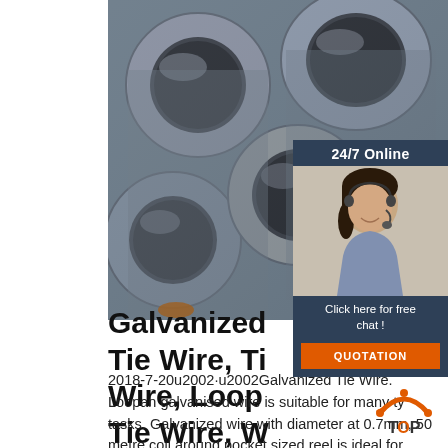[Figure (photo): Close-up photo of metallic steel pipes/tubes stacked together, showing circular cross-sections]
[Figure (photo): 24/7 Online customer service chat widget with a smiling woman wearing a headset, dark blue background, orange QUOTATION button]
Galvanized Tie Wire, Tie Wire, Loop Tie Wire, Wire Ties ...
2018-7-20u2002·u2002Galvanized Tie Wire. Loopan galvanised wire is suitable for many types of tasks. Galvanized wire with diameter at 0.7mm, 50 metre coil around pocket sized reel is ideal for